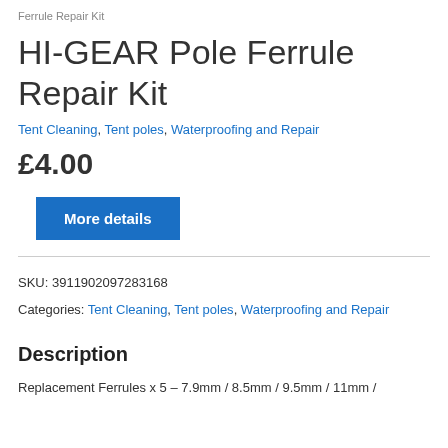Ferrule Repair Kit
HI-GEAR Pole Ferrule Repair Kit
Tent Cleaning, Tent poles, Waterproofing and Repair
£4.00
More details
SKU: 3911902097283168
Categories: Tent Cleaning, Tent poles, Waterproofing and Repair
Description
Replacement Ferrules x 5 – 7.9mm / 8.5mm / 9.5mm / 11mm /